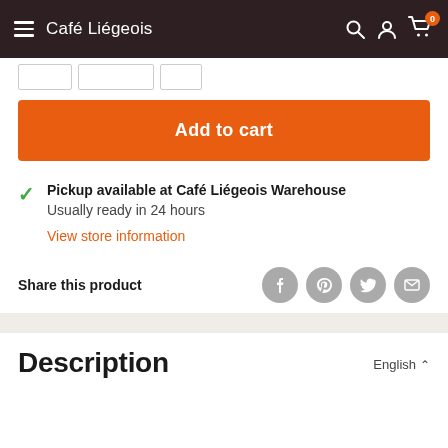Café Liégeois
Add to cart
Pickup available at Café Liégeois Warehouse
Usually ready in 24 hours
View store information
Share this product
Description
English